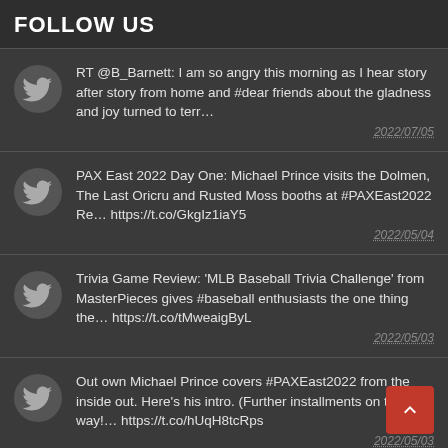FOLLOW US
RT @B_Barnett: I am so angry this morning as I hear story after story from home and #dear friends about the gladness and joy turned to terr… 2022/07/05
PAX East 2022 Day One: Michael Prince visits the Dolmen, The Last Oricru and Rusted Moss booths at #PAXEast2022 Re… https://t.co/GkgIz1iaY5 2022/05/04
Trivia Game Review: 'MLB Baseball Trivia Challenge' from MasterPieces gives #baseball enthusiasts the one thing the… https://t.co/tMweaigByL 2022/05/03
Out own Michael Prince covers #PAXEast2022 from the inside out. Here's his intro. (Further installments on the way!… https://t.co/hUqH8tcRps 2022/05/03
Theater Review: Masks Can't Mask Love in 'André & Dorine' –